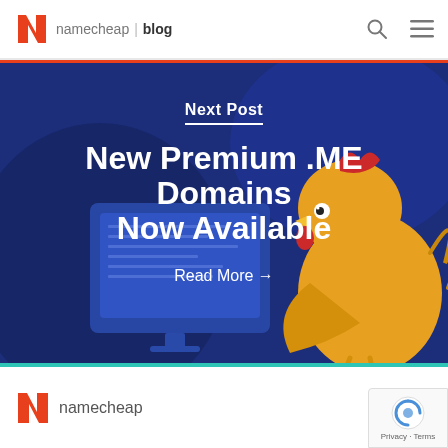namecheap | blog
[Figure (illustration): Namecheap blog hero banner with dark navy background showing a cartoon chicken looking at a computer screen, with 'Next Post' label, title 'New Premium .ME Domains Now Available', and 'Read More →' link]
New Premium .ME Domains Now Available
Read More →
namecheap